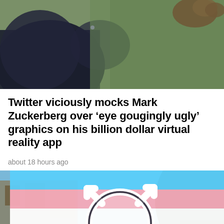[Figure (photo): Partial photo of a person in dark clothing against a green background, cropped at top]
Twitter viciously mocks Mark Zuckerberg over ‘eye gougingly ugly’ graphics on his billion dollar virtual reality app
about 18 hours ago
[Figure (photo): Photo of a transgender pride flag with the transgender symbol (circle with combined male and female symbols) displayed outdoors, with a building on the left and trees in the background]